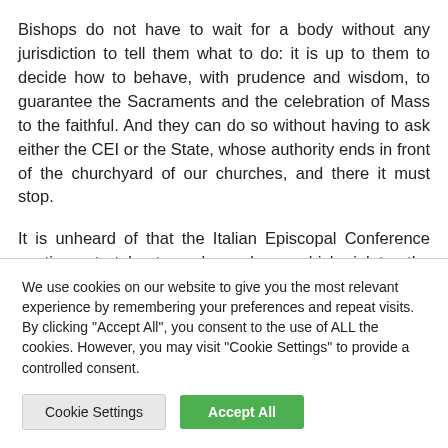Bishops do not have to wait for a body without any jurisdiction to tell them what to do: it is up to them to decide how to behave, with prudence and wisdom, to guarantee the Sacraments and the celebration of Mass to the faithful. And they can do so without having to ask either the CEI or the State, whose authority ends in front of the churchyard of our churches, and there it must stop.
It is unheard of that the Italian Episcopal Conference continues to tolerate such an abuse, which violates the divine
We use cookies on our website to give you the most relevant experience by remembering your preferences and repeat visits. By clicking "Accept All", you consent to the use of ALL the cookies. However, you may visit "Cookie Settings" to provide a controlled consent.